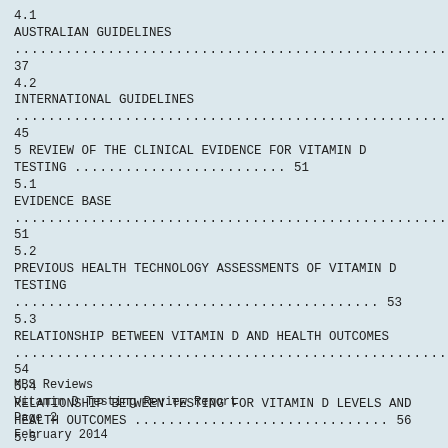4.1 AUSTRALIAN GUIDELINES ..................................................... 37
4.2 INTERNATIONAL GUIDELINES ..................................................... 45
5 REVIEW OF THE CLINICAL EVIDENCE FOR VITAMIN D TESTING ...................... 51
5.1 EVIDENCE BASE ..................................................... 51
5.2 PREVIOUS HEALTH TECHNOLOGY ASSESSMENTS OF VITAMIN D TESTING ..................................................... 53
5.3 RELATIONSHIP BETWEEN VITAMIN D AND HEALTH OUTCOMES ..................................................... 54
5.4 RELATIONSHIP BETWEEN TESTING FOR VITAMIN D LEVELS AND HEALTH OUTCOMES ..................................................... 56
5.5 EVIDENCE OF THE DIFFERENTIAL CLINICAL UTILITY OF VITAMIN D TESTING ..................................................... 56
MBS Reviews
Vitamin D Testing Review Report
Page 2
February 2014